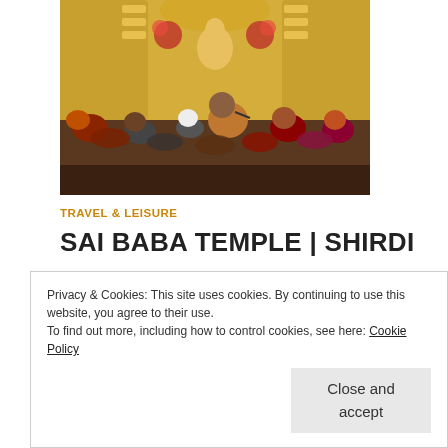[Figure (photo): Interior of Shirdi Sai Baba Temple showing devotees and priests gathered in front of the golden shrine with the idol of Sai Baba decorated with flowers]
TRAVEL & LEISURE
SAI BABA TEMPLE | SHIRDI
13 AUG 2012   JUDHAJIT ROYCHOUDHURY
Shirdi Sai Baba Temple is a beautiful shrine that was built over the Samadhi of Shri Sai Baba. Shirdi is the...
Privacy & Cookies: This site uses cookies. By continuing to use this website, you agree to their use.
To find out more, including how to control cookies, see here: Cookie Policy

Close and accept